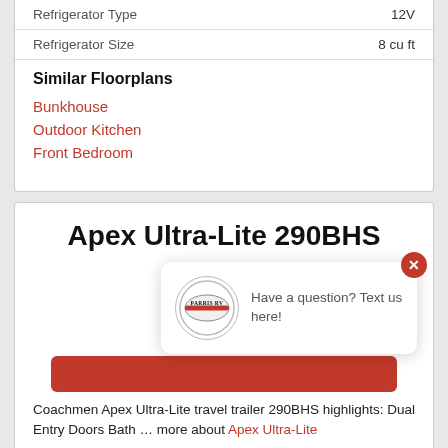|  |  |
| --- | --- |
| Refrigerator Type | 12V |
| Refrigerator Size | 8 cu ft |
Similar Floorplans
Bunkhouse
Outdoor Kitchen
Front Bedroom
Apex Ultra-Lite 290BHS
[Figure (screenshot): Parris RV chat popup with logo circle, close button (red X), and text 'Have a question? Text us here!']
Coachmen Apex Ultra-Lite travel trailer 290BHS highlights: Dual Entry Doors Bath … more about Apex Ultra-Lite